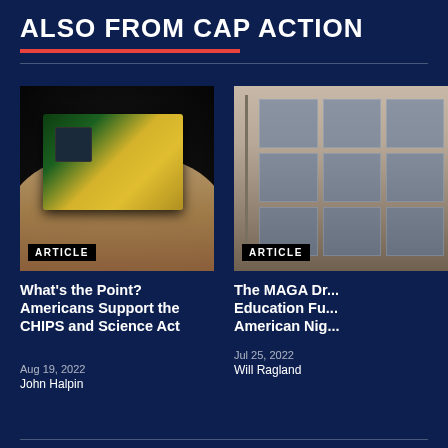ALSO FROM CAP ACTION
[Figure (photo): A hand holding an Intel chip/processor with gold-colored die visible on a dark background. Badge reads ARTICLE.]
What's the Point? Americans Support the CHIPS and Science Act
Aug 19, 2022
John Halpin
[Figure (photo): Exterior of a building with large glass windows and concrete facade. Badge reads ARTICLE.]
The MAGA Dr... Education Fu... American Nig...
Jul 25, 2022
Will Ragland